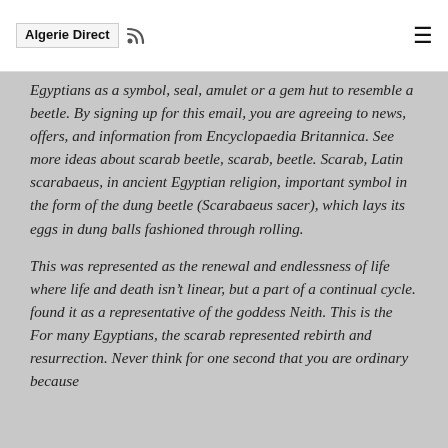Algerie Direct
Egyptians as a symbol, seal, amulet or a gem hut to resemble a beetle. By signing up for this email, you are agreeing to news, offers, and information from Encyclopaedia Britannica. See more ideas about scarab beetle, scarab, beetle. Scarab, Latin scarabaeus, in ancient Egyptian religion, important symbol in the form of the dung beetle (Scarabaeus sacer), which lays its eggs in dung balls fashioned through rolling.
This was represented as the renewal and endlessness of life where life and death isn’t linear, but a part of a continual cycle. found it as a representative of the goddess Neith. This is the For many Egyptians, the scarab represented rebirth and resurrection. Never think for one second that you are ordinary because